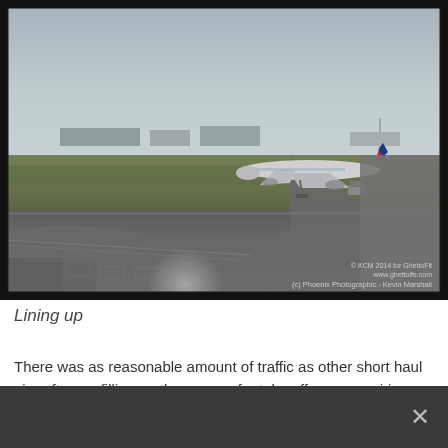[Figure (photo): Airport tarmac scene with a British Airways aircraft on a taxiway, viewed from another aircraft window. Green grass visible, overcast sky with lens flares. Photo credit: © KCM 2014 for GhettoFit www.ghettoife.com, (c) Phoenix Photographic - Kevin Marshall]
Lining up
There was as reasonable amount of traffic as other short haul aircraft were filling up the runway for take off runs, requiring a bit of a wait. We were 3rd to take off.